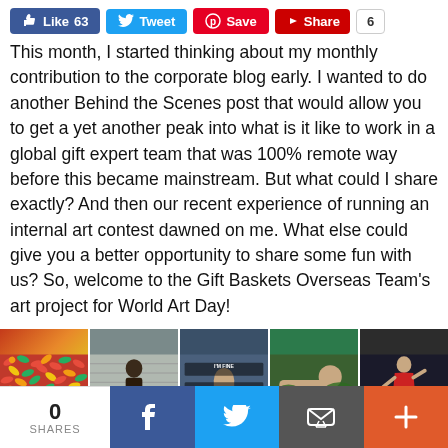[Figure (screenshot): Social sharing buttons: Like 63 (Facebook), Tweet (Twitter), Save (Pinterest), Share (YouTube), count badge 6]
This month, I started thinking about my monthly contribution to the corporate blog early. I wanted to do another Behind the Scenes post that would allow you to get a yet another peak into what is it like to work in a global gift expert team that was 100% remote way before this became mainstream. But what could I share exactly? And then our recent experience of running an internal art contest dawned on me. What else could give you a better opportunity to share some fun with us? So, welcome to the Gift Baskets Overseas Team's art project for World Art Day!
[Figure (photo): Strip of five thumbnail images: colorful capsules/pills, person from behind, office meme 'I'M FINE / SLEPT IN NOVEMBER', person lying down outdoors, person in red dress yoga pose]
0 SHARES | Facebook | Twitter | Email | +